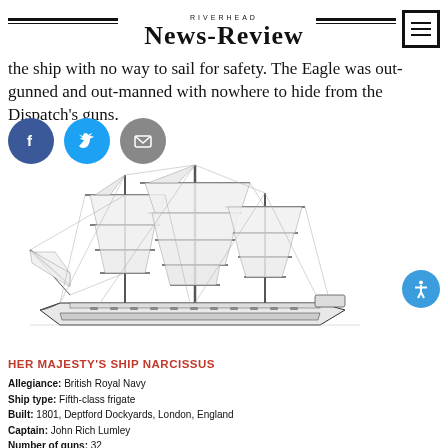RIVERHEAD NEWS-REVIEW
the ship with no way to sail for safety. The Eagle was out-gunned and out-manned with nowhere to hide from the Dispatch's guns.
[Figure (illustration): Black and white illustration of Her Majesty's Ship Narcissus, a large three-masted sailing warship with full rigging and sails]
HER MAJESTY'S SHIP NARCISSUS
Allegiance: British Royal Navy
Ship type: Fifth-class frigate
Built: 1801, Deptford Dockyards, London, England
Captain: John Rich Lumley
Number of guns: 32
Deck length: 142 feet
Displacement tonnage: 894 tons